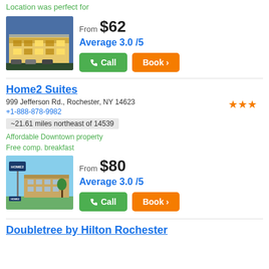Location was perfect for
From $62
Average 3.0 /5
[Figure (photo): Hotel exterior at dusk with lit facade]
Call | Book
Home2 Suites
999 Jefferson Rd., Rochester, NY 14623
+1-888-878-9982
~21.61 miles northeast of 14539
Affordable Downtown property
Free comp. breakfast
From $80
Average 3.0 /5
[Figure (photo): Home2 Suites hotel exterior with sign]
Call | Book
Doubletree by Hilton Rochester